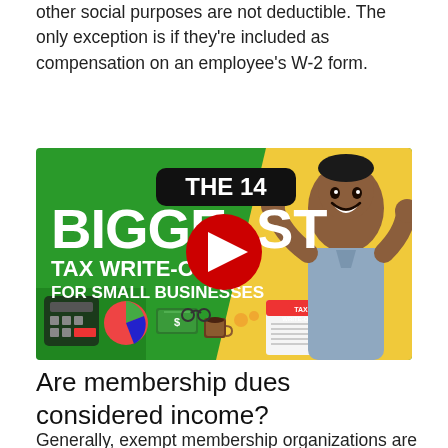other social purposes are not deductible. The only exception is if they're included as compensation on an employee's W-2 form.
[Figure (screenshot): YouTube thumbnail showing 'The 14 Biggest Tax Write-Offs For Small Businesses' with a man celebrating on a green and yellow background, with a red YouTube play button overlay.]
Are membership dues considered income?
Generally, exempt membership organizations are supported by annual